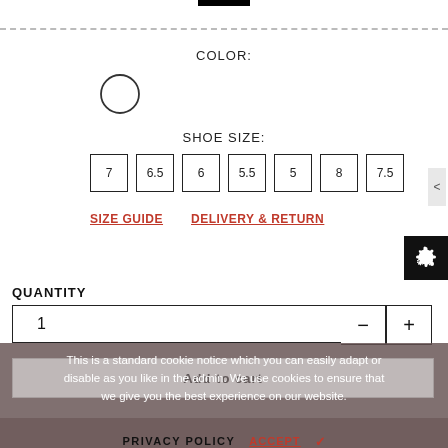COLOR:
[Figure (other): White/outline color swatch circle]
SHOE SIZE:
7  6.5  6  5.5  5  8  7.5
SIZE GUIDE   DELIVERY & RETURN
QUANTITY
1
This is a standard cookie notice which you can easily adapt or disable as you like in the admin. We use cookies to ensure that we give you the best experience on our website.
PRIVACY POLICY  ACCEPT ✓